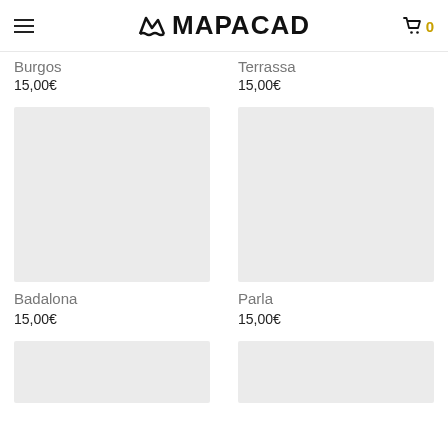MAPACAD
Burgos
15,00€
Terrassa
15,00€
[Figure (photo): Product image placeholder for Badalona map]
Badalona
15,00€
[Figure (photo): Product image placeholder for Parla map]
Parla
15,00€
[Figure (photo): Product image placeholder bottom left]
[Figure (photo): Product image placeholder bottom right]